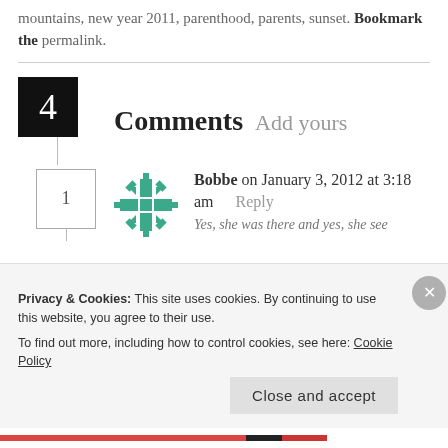mountains, new year 2011, parenthood, parents, sunset. Bookmark the permalink.
4 Comments Add yours
Bobbe on January 3, 2012 at 3:18 am  Reply
Yes, she was there and yes, she see
Privacy & Cookies: This site uses cookies. By continuing to use this website, you agree to their use.
To find out more, including how to control cookies, see here: Cookie Policy
Close and accept